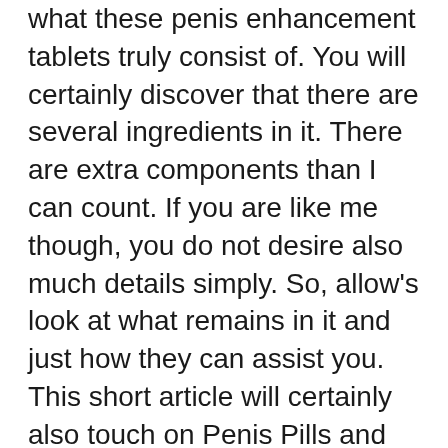what these penis enhancement tablets truly consist of. You will certainly discover that there are several ingredients in it. There are extra components than I can count. If you are like me though, you do not desire also much details simply. So, allow's look at what remains in it and just how they can assist you. This short article will certainly also touch on Penis Pills and also their performance.
The ingredients that go into Penis Pills are actually called “Cohosh”, “Arginine”, “ARS”, as well as “L-Arginine”. The first one is an amino acid discovered in herbs like Horny Goat Weed. It is referred to as Horny Goat Weed as well as is extremely well recognized for its aphrodisiac and also sex drive